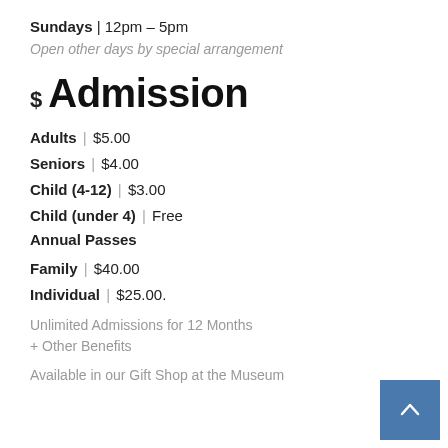Sundays | 12pm – 5pm
Open other days by special arrangement
$ Admission
Adults | $5.00
Seniors | $4.00
Child (4-12) | $3.00
Child (under 4) | Free
Annual Passes
Family | $40.00
Individual | $25.00.
Unlimited Admissions for 12 Months + Other Benefits
Available in our Gift Shop at the Museum